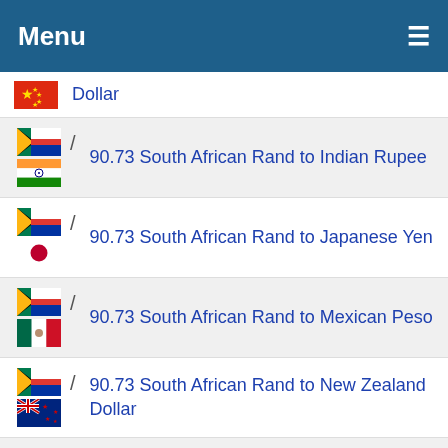Menu ≡
Dollar
90.73 South African Rand to Indian Rupee
90.73 South African Rand to Japanese Yen
90.73 South African Rand to Mexican Peso
90.73 South African Rand to New Zealand Dollar
90.73 South African Rand to Norwegian Krone